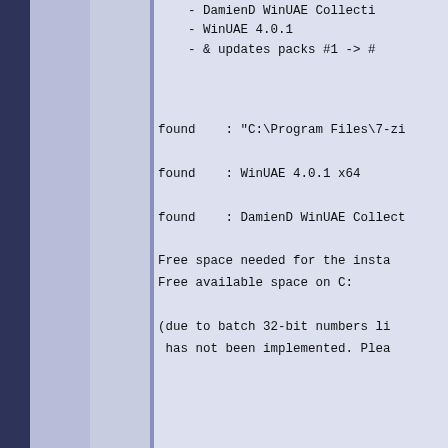- DamienD WinUAE Collecti
    - WinUAE 4.0.1
    - & updates packs #1 -> #
found    : "C:\Program Files\7-zi
found    : WinUAE 4.0.1 x64
found    : DamienD WinUAE Collect
Free space needed for the insta
Free available space on C:
(due to batch 32-bit numbers li
 has not been implemented. Plea
Do you want to proceed ? y
    (depending on your hardware,
  ssing 'base package' (st
        Processing 'base package' (st
      ocessing 'base package' (st
        Processing "WinUAE.reg"...
Updating included WinUAE 3.6.
Before releasing the 'Update Pa
This website uses cookies to improve user experience and display correct advertisement.
Learn more
Got it!